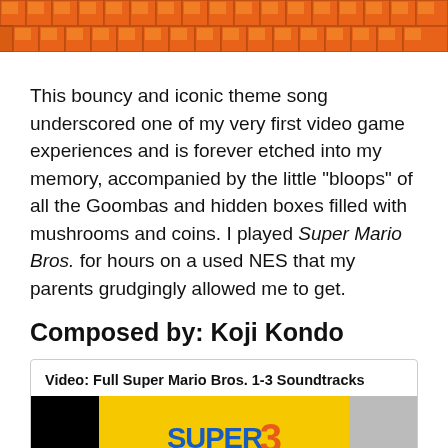[Figure (illustration): Pixelated orange brick/block banner pattern resembling Super Mario Bros question blocks and brick tiles, tiled across the full width]
This bouncy and iconic theme song underscored one of my very first video game experiences and is forever etched into my memory, accompanied by the little “bloops” of all the Goombas and hidden boxes filled with mushrooms and coins. I played Super Mario Bros. for hours on a used NES that my parents grudgingly allowed me to get.
Composed by: Koji Kondo
Video: Full Super Mario Bros. 1-3 Soundtracks
[Figure (screenshot): Video thumbnail showing Super Mario Bros. 3 title screen with yellow background, blue SUPER text with a 3 badge, and MARIO BROS text below, flanked by black bars on left and gray on right]